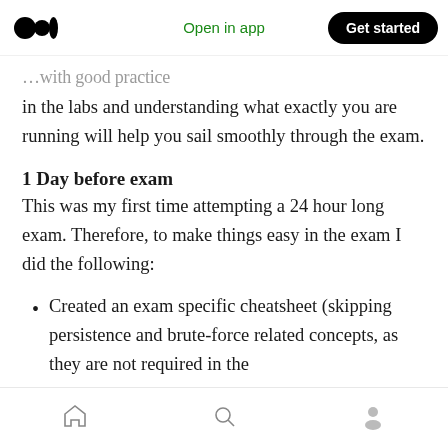Open in app | Get started
...with good practice in the labs and understanding what exactly you are running will help you sail smoothly through the exam.
1 Day before exam
This was my first time attempting a 24 hour long exam. Therefore, to make things easy in the exam I did the following:
Created an exam specific cheatsheet (skipping persistence and brute-force related concepts, as they are not required in the
home | search | profile